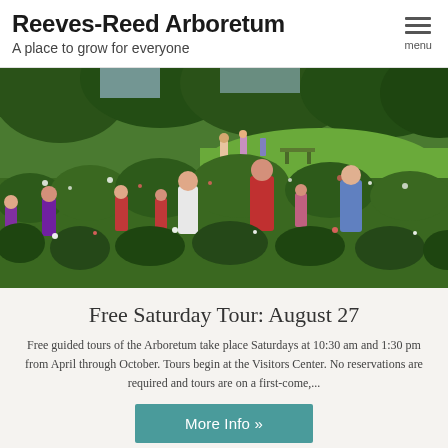Reeves-Reed Arboretum
A place to grow for everyone
[Figure (photo): Group of children and adults walking through a lush garden with wildflowers, trees and green lawns in the background at Reeves-Reed Arboretum]
Free Saturday Tour: August 27
Free guided tours of the Arboretum take place Saturdays at 10:30 am and 1:30 pm from April through October. Tours begin at the Visitors Center. No reservations are required and tours are on a first-come,...
More Info »